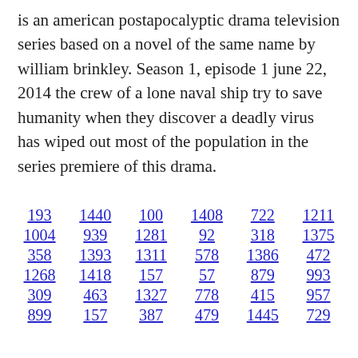is an american postapocalyptic drama television series based on a novel of the same name by william brinkley. Season 1, episode 1 june 22, 2014 the crew of a lone naval ship try to save humanity when they discover a deadly virus has wiped out most of the population in the series premiere of this drama.
193  1440  100  1408  722  1211
1004  939  1281  92  318  1375
358  1393  1311  578  1386  472
1268  1418  157  57  879  993
309  463  1327  778  415  957
899  157  387  479  1445  729